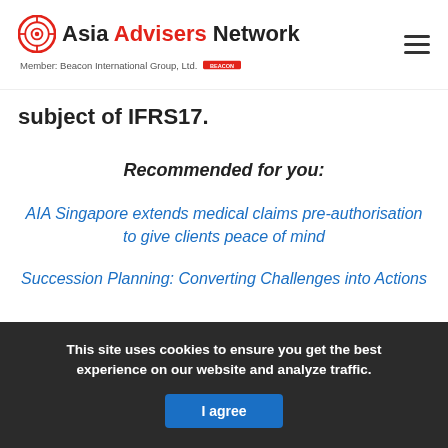Asia Advisers Network — Member: Beacon International Group, Ltd.
subject of IFRS17.
Recommended for you:
AIA Singapore extends medical claims pre-authorisation to give clients peace of mind
Succession Planning: Converting Challenges into Actions
How to win Millennial Agents into Financial...
This site uses cookies to ensure you get the best experience on our website and analyze traffic.